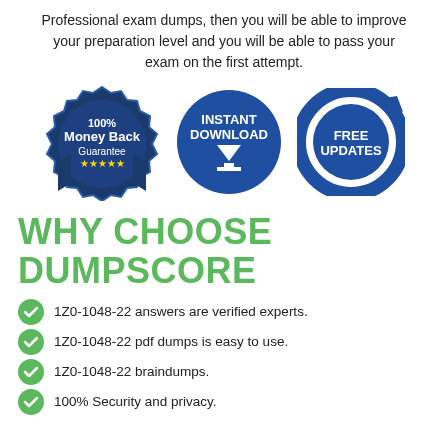Professional exam dumps, then you will be able to improve your preparation level and you will be able to pass your exam on the first attempt.
[Figure (infographic): Three circular badge icons: 100% Money Back Guarantee (dark blue badge with stars), Instant Download (dark blue circle with download arrow icon), Free Updates (dark blue circle with circular arrow icon)]
WHY CHOOSE DUMPSCORE
1Z0-1048-22 answers are verified experts.
1Z0-1048-22 pdf dumps is easy to use.
1Z0-1048-22 braindumps.
100% Security and privacy.